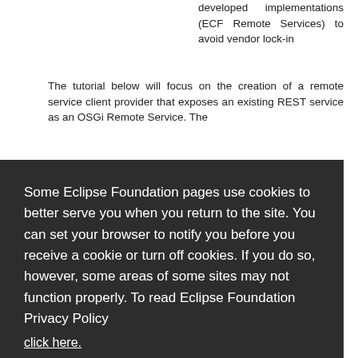developed implementations (ECF Remote Services) to avoid vendor lock-in
The tutorial below will focus on the creation of a remote service client provider that exposes an existing REST service as an OSGi Remote Service. The
[Figure (screenshot): Cookie consent overlay on Eclipse Foundation website. Text reads: 'Some Eclipse Foundation pages use cookies to better serve you when you return to the site. You can set your browser to notify you before you receive a cookie or turn off cookies. If you do so, however, some areas of some sites may not function properly. To read Eclipse Foundation Privacy Policy click here.' Two buttons: 'Decline' (white) and 'Allow cookies' (orange).]